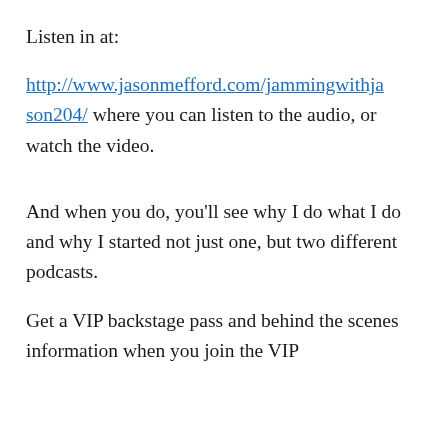Listen in at:
http://www.jasonmefford.com/jammingwithjason204/ where you can listen to the audio, or watch the video.
And when you do, you’ll see why I do what I do and why I started not just one, but two different podcasts.
Get a VIP backstage pass and behind the scenes information when you join the VIP